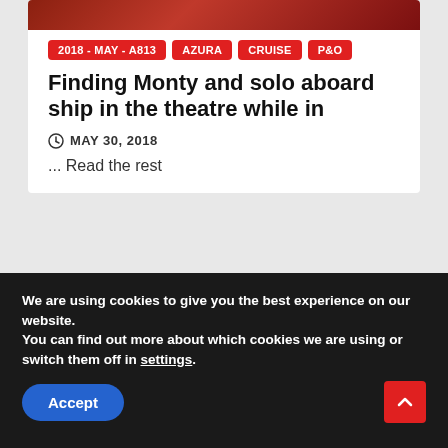[Figure (photo): Red/brown theater seats image at top of card]
2018 - MAY - A813
AZURA
CRUISE
P&O
Finding Monty and solo aboard ship in the theatre while in
MAY 30, 2018
... Read the rest
We are using cookies to give you the best experience on our website.
You can find out more about which cookies we are using or switch them off in settings.